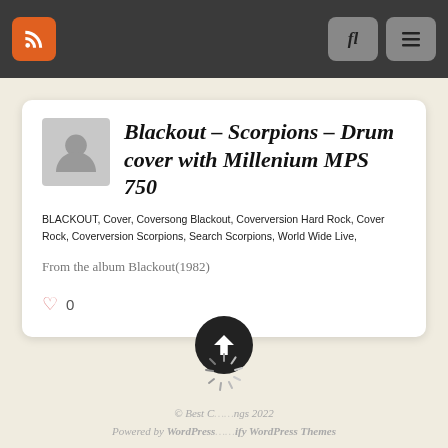Navigation bar with RSS icon, search button, and menu button
Blackout – Scorpions – Drum cover with Millenium MPS 750
BLACKOUT, Cover, Coversong Blackout, Coverversion Hard Rock, Cover Rock, Coverversion Scorpions, Search Scorpions, World Wide Live,
From the album Blackout(1982)
0
© Best C...ngs 2022 Powered by WordPress...ify WordPress Themes